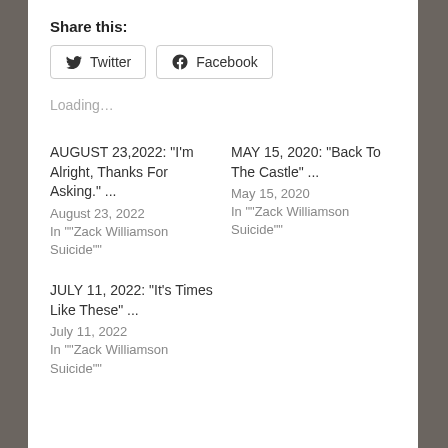Share this:
Twitter  Facebook
Loading…
AUGUST 23,2022: “I’m Alright, Thanks For Asking.”
...
August 23, 2022
In ““Zack Williamson Suicide””
MAY 15, 2020: “Back To The Castle” ...
May 15, 2020
In ““Zack Williamson Suicide””
JULY 11, 2022: “It’s Times Like These” ...
July 11, 2022
In ““Zack Williamson Suicide””